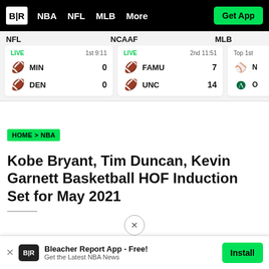B|R  NBA  NFL  MLB  More  Get App
NFL
|  | Team | Score |
| --- | --- | --- |
| LIVE | 1st 9:11 |  |
| MIN |  | 0 |
| DEN |  | 0 |
NCAAF
|  | Team | Score |
| --- | --- | --- |
| LIVE | 2nd 11:51 |  |
| FAMU |  | 7 |
| UNC |  | 14 |
MLB
|  | Team | Score |
| --- | --- | --- |
| Top 1st |  |  |
HOME > NBA
Kobe Bryant, Tim Duncan, Kevin Garnett Basketball HOF Induction Set for May 2021
Bleacher Report App - Free! Get the Latest NBA News  Install